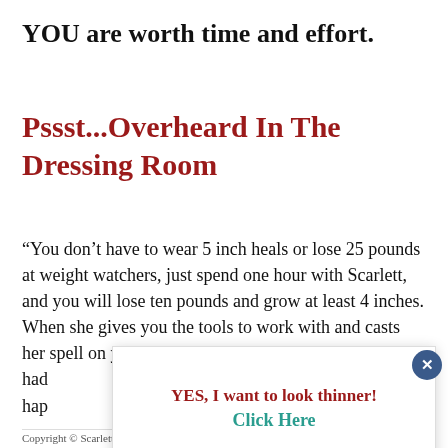YOU are worth time and effort.
Pssst...Overheard In The Dressing Room
“You don’t have to wear 5 inch heals or lose 25 pounds at weight watchers, just spend one hour with Scarlett, and you will lose ten pounds and grow at least 4 inches. When she gives you the tools to work with and casts her spell on you, you gain… had… hap…
YES, I want to look thinner!
Click Here
Copyright © Scarlett Image™ All Rights Reserved